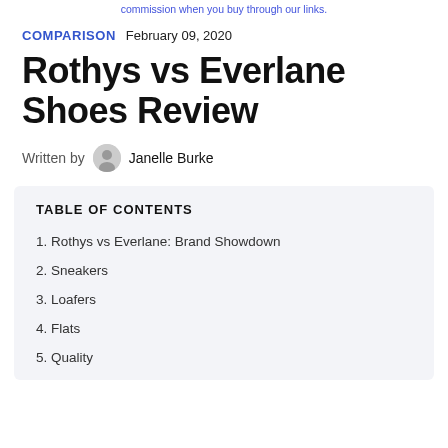commission when you buy through our links.
COMPARISON   February 09, 2020
Rothys vs Everlane Shoes Review
Written by   Janelle Burke
TABLE OF CONTENTS
1. Rothys vs Everlane: Brand Showdown
2. Sneakers
3. Loafers
4. Flats
5. Quality